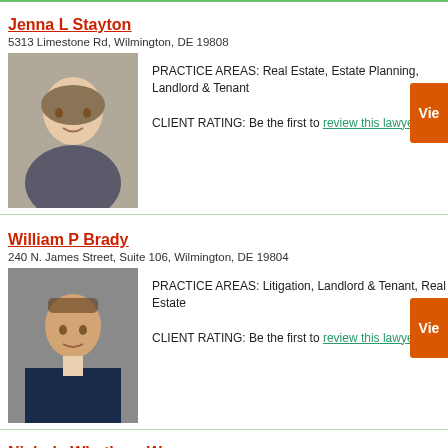Jenna L Stayton
5313 Limestone Rd, Wilmington, DE 19808
PRACTICE AREAS: Real Estate, Estate Planning, Landlord & Tenant
CLIENT RATING: Be the first to review this lawyer
William P Brady
240 N. James Street, Suite 106, Wilmington, DE 19804
PRACTICE AREAS: Litigation, Landlord & Tenant, Real Estate
CLIENT RATING: Be the first to review this lawyer
Nichole Whetham Warner
240 N. James St., Suite 106, Wilmington, DE 19804
PRACTICE AREAS: Litigation, Landlord & Tenant, Real Estate, Wills
CLIENT RATING: Be the first to review this lawyer